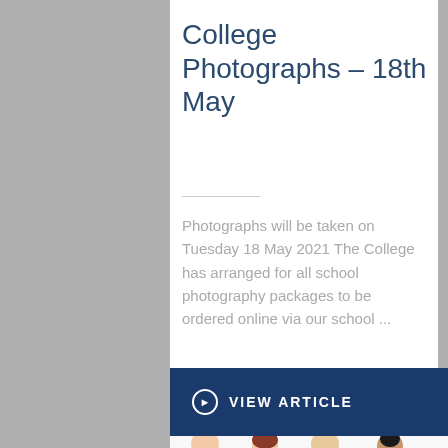College Photographs – 18th May
Photographs will be taken on Tuesday 18 May 2021 The College has arranged for all school photography packages to be ordered online via our school ...
VIEW ARTICLE
[Figure (illustration): Cartoon illustration of four formally dressed people (prom/graduation attire): two men in tuxedos and two women in formal dresses, partially visible at bottom of page]